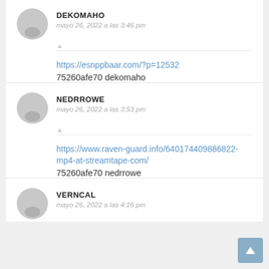DEKOMAHO
mayo 26, 2022 a las 3:46 pm
https://esnppbaar.com/?p=12532
75260afe70 dekomaho
NEDRROWE
mayo 26, 2022 a las 3:53 pm
https://www.raven-guard.info/640174409886822-mp4-at-streamtape-com/
75260afe70 nedrrowe
VERNCAL
mayo 26, 2022 a las 4:16 pm